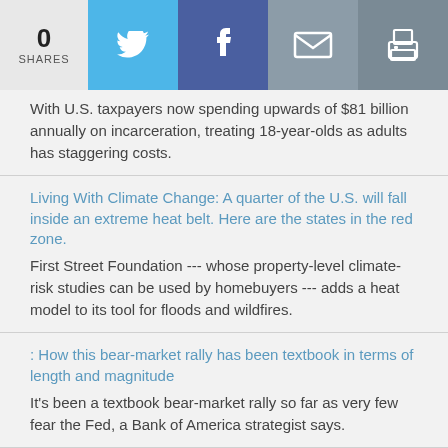0 SHARES [Twitter] [Facebook] [Email] [Print]
With U.S. taxpayers now spending upwards of $81 billion annually on incarceration, treating 18-year-olds as adults has staggering costs.
Living With Climate Change: A quarter of the U.S. will fall inside an extreme heat belt. Here are the states in the red zone.
First Street Foundation --- whose property-level climate-risk studies can be used by homebuyers --- adds a heat model to its tool for floods and wildfires.
: How this bear-market rally has been textbook in terms of length and magnitude
It's been a textbook bear-market rally so far as very few fear the Fed, a Bank of America strategist says.
In One Chart: Here's what the big inventory problem for retailers looks like